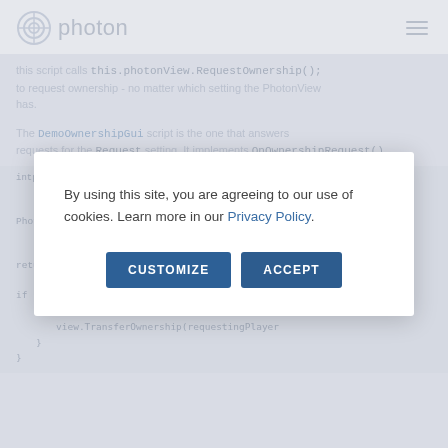photon
this script calls this.photonView.RequestOwnership(); to request ownership - no matter which setting the PhotonView has.
The DemoOwnershipGui script is the one that answers requests for the Request setting. It implements OnOwnershipRequest().
Cookie consent modal: By using this site, you are agreeing to our use of cookies. Learn more in our Privacy Policy. Buttons: CUSTOMIZE | ACCEPT
[Figure (screenshot): Cookie consent modal overlay with CUSTOMIZE and ACCEPT buttons over a code documentation page]
if (this.TransferOwnershipOnRequest) { view.TransferOwnership(requestingPlayer } }